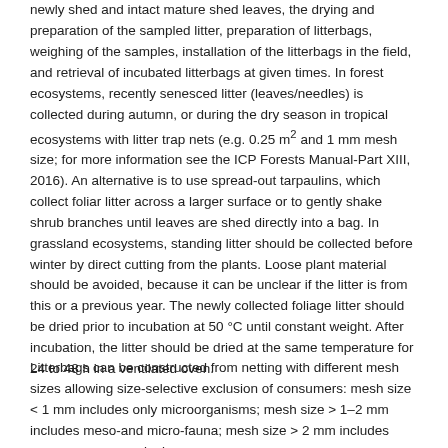newly shed and intact mature shed leaves, the drying and preparation of the sampled litter, preparation of litterbags, weighing of the samples, installation of the litterbags in the field, and retrieval of incubated litterbags at given times. In forest ecosystems, recently senesced litter (leaves/needles) is collected during autumn, or during the dry season in tropical ecosystems with litter trap nets (e.g. 0.25 m2 and 1 mm mesh size; for more information see the ICP Forests Manual-Part XIII, 2016). An alternative is to use spread-out tarpaulins, which collect foliar litter across a larger surface or to gently shake shrub branches until leaves are shed directly into a bag. In grassland ecosystems, standing litter should be collected before winter by direct cutting from the plants. Loose plant material should be avoided, because it can be unclear if the litter is from this or a previous year. The newly collected foliage litter should be dried prior to incubation at 50 °C until constant weight. After incubation, the litter should be dried at the same temperature for 24 to 48 h in a ventilated oven.
Litterbags can be constructed from netting with different mesh sizes allowing size-selective exclusion of consumers: mesh size < 1 mm includes only microorganisms; mesh size > 1–2 mm includes meso-and micro-fauna; mesh size > 2 mm includes macro-, meso-, and micro-